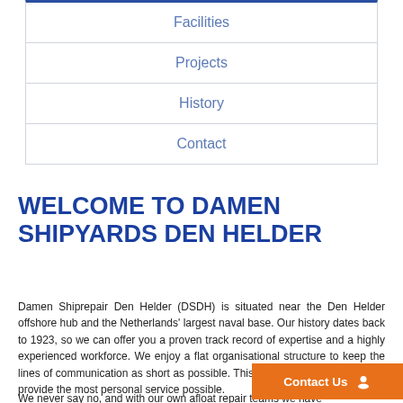Facilities
Projects
History
Contact
WELCOME TO DAMEN SHIPYARDS DEN HELDER
Damen Shiprepair Den Helder (DSDH) is situated near the Den Helder offshore hub and the Netherlands’ largest naval base. Our history dates back to 1923, so we can offer you a proven track record of expertise and a highly experienced workforce. We enjoy a flat organisational structure to keep the lines of communication as short as possible. This allows us to move fast and provide the most personal service possible.
We never say no, and with our own afloat repair teams we have